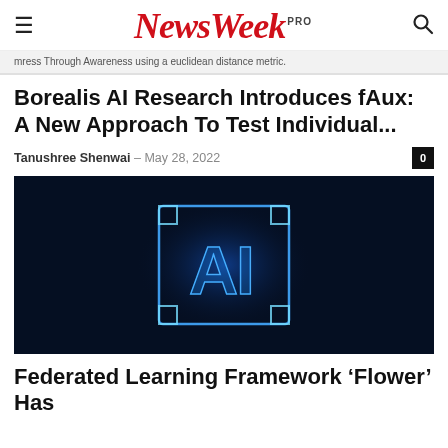NewsWeek PRO
mress Through Awareness using a euclidean distance metric.
Borealis AI Research Introduces fAux:  A New Approach To Test Individual...
Tanushree Shenwai  –  May 28, 2022
[Figure (photo): Dark blue background with glowing blue AI letters inside a glowing square chip frame, representing artificial intelligence technology]
Federated Learning Framework 'Flower' Has